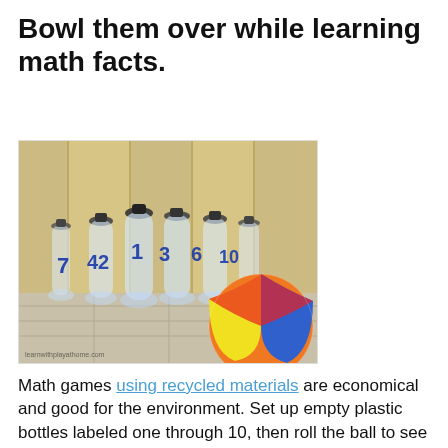Bowl them over while learning math facts.
[Figure (photo): Photo of clear plastic water bottles labeled with numbers (7, 42, 1, 3, 6, 10) standing on a tiled floor in front of wooden cabinet, with a colorful beach ball (orange, blue, yellow) in the foreground right. Watermark: learnwithplayathome.com]
Math games using recycled materials are economical and good for the environment. Set up empty plastic bottles labeled one through 10, then roll the ball to see how many you can knock down. Add up the numbers of the knocked-over bottles to get your